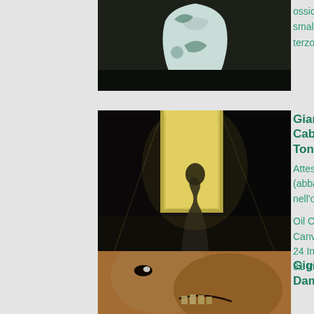[Figure (photo): Photo of a white ceramic vase/sculpture on dark background (partially visible, top cut off)]
ossidi e smalti a terzo fuoco
[Figure (photo): Black and white photo of a tire/wheel on ground (partially visible)]
[Figure (photo): Dark surrealist painting of a cat-like figure in a doorway with dramatic light]
Gianni Cabras-Tonara
Attesa - (abbandono nell'oblio)
Oil On Canvas 24 Inches x 31 Inches
[Figure (photo): Colorful pointillist landscape painting with trees and vivid sunset colors (red, green, yellow)]
[Figure (photo): Close-up photo of two faces, one appearing monstrous, dramatic lighting with warm tones]
Gigi Damico
[Figure (photo): Sepia-toned photo of a person's back/shoulder, moody and artistic]